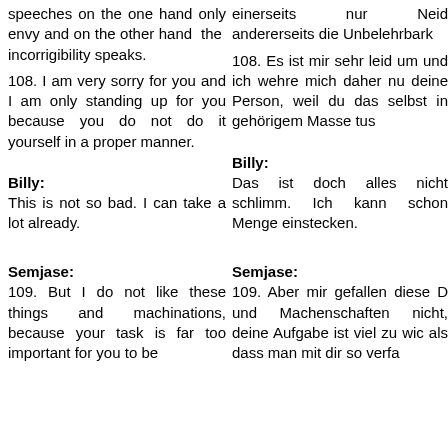speeches on the one hand only envy and on the other hand the incorrigibility speaks.
einerseits nur Neid andererseits die Unbelehrbarkeit
108. I am very sorry for you and I am only standing up for you because you do not do it yourself in a proper manner.
108. Es ist mir sehr leid um und ich wehre mich daher nu deine Person, weil du das selbst in gehörigem Masse tus
Billy:
Billy:
This is not so bad. I can take a lot already.
Das ist doch alles nicht schlimm. Ich kann schon Menge einstecken.
Semjase:
Semjase:
109. But I do not like these things and machinations, because your task is far too important for you to be
109. Aber mir gefallen diese D und Machenschaften nicht, deine Aufgabe ist viel zu wic als dass man mit dir so verfa